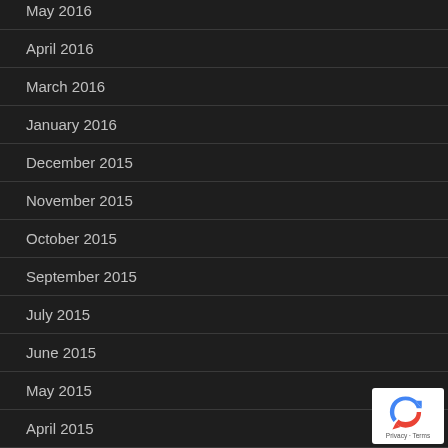May 2016
April 2016
March 2016
January 2016
December 2015
November 2015
October 2015
September 2015
July 2015
June 2015
May 2015
April 2015
March 2015